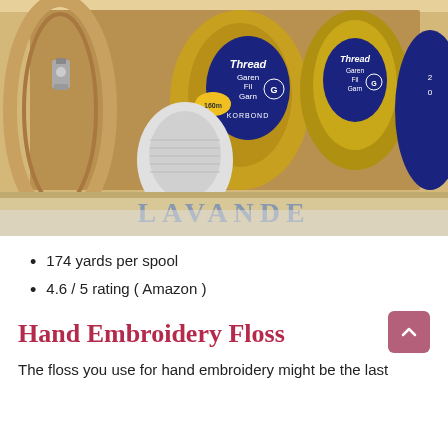[Figure (photo): A wooden box/tray containing multiple spools of thread including Korbond brand gold/yellow thread (160m) and silver/white thread, along with other colorful spools. An embroidery hoop is partially visible on the left. A wooden crate with 'LAVANDE' text is visible at the bottom.]
174 yards per spool
4.6/5 rating (Amazon)
Hand Embroidery Floss
The floss you use for hand embroidery might be the last